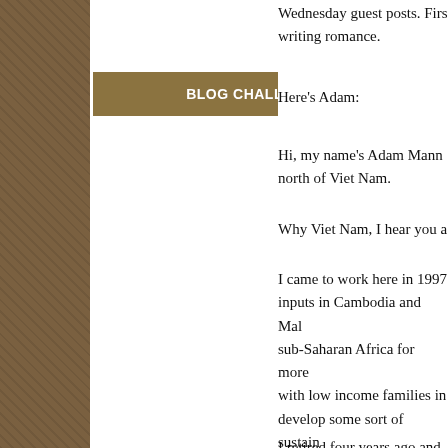[Figure (other): Left sidebar with dark brown/khaki textured background]
BLOG CHALLENGE!
Wednesday guest posts. Firs writing romance.
Here’s Adam:
Hi, my name’s Adam Mann north of Viet Nam.
Why Viet Nam, I hear you a
I came to work here in 1997 inputs in Cambodia and Ma sub-Saharan Africa for more with low income families in develop some sort of sustain always have to live from han
I retired four years ago and s
Why romance novels, you fr
Well I’ve always enjoyed my As you can imagine working very limited communication